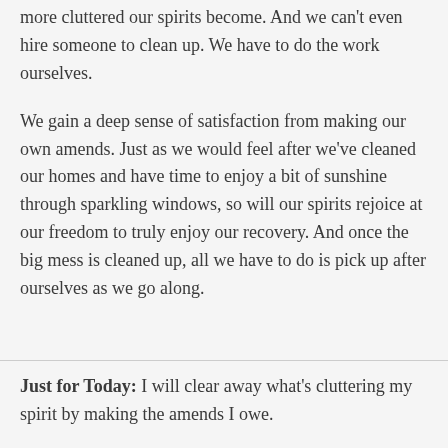more cluttered our spirits become. And we can't even hire someone to clean up. We have to do the work ourselves.
We gain a deep sense of satisfaction from making our own amends. Just as we would feel after we've cleaned our homes and have time to enjoy a bit of sunshine through sparkling windows, so will our spirits rejoice at our freedom to truly enjoy our recovery. And once the big mess is cleaned up, all we have to do is pick up after ourselves as we go along.
Just for Today: I will clear away what's cluttering my spirit by making the amends I owe.